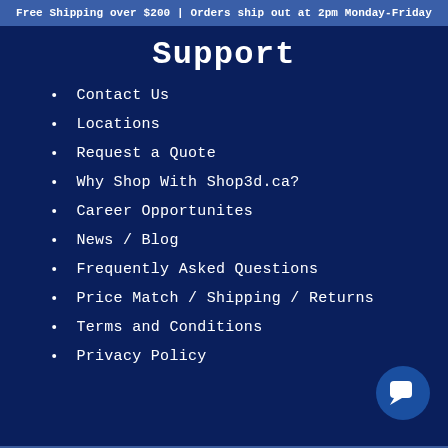Free Shipping over $200 | Orders ship out at 2pm Monday-Friday
Support
Contact Us
Locations
Request a Quote
Why Shop With Shop3d.ca?
Career Opportunites
News / Blog
Frequently Asked Questions
Price Match / Shipping / Returns
Terms and Conditions
Privacy Policy